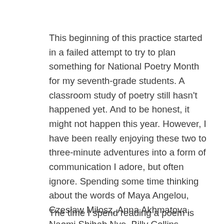This beginning of this practice started in a failed attempt to try to plan something for National Poetry Month for my seventh-grade students. A classroom study of poetry still hasn't happened yet. And to be honest, it might not happen this year. However, I have been really enjoying these two to three-minute adventures into a form of communication I adore, but often ignore. Spending some time thinking about the words of Maya Angelou, Czesław Miłosz, Anna Akhmatova, Naomi Shihab Nye, Billy Collins, Kwame Alexander, Justin Runge, Jacqueline Woodson, Alan Dugan and others have given me the chance to slow down for a moment or two each day.
The time I spend reading a poem is short, but most